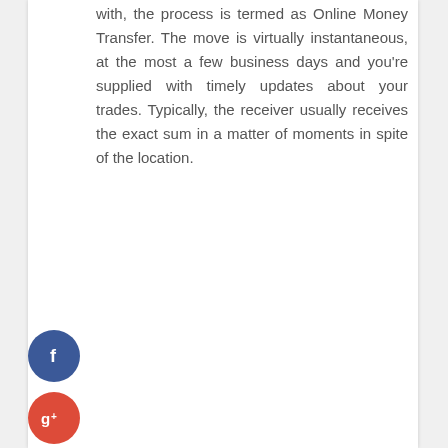with, the process is termed as Online Money Transfer. The move is virtually instantaneous, at the most a few business days and you're supplied with timely updates about your trades. Typically, the receiver usually receives the exact sum in a matter of moments in spite of the location.
[Figure (infographic): Social media sharing buttons: Facebook (blue circle with f), Google+ (red circle with g+), Twitter (blue circle with bird icon), Plus/Add (dark circle with + icon)]